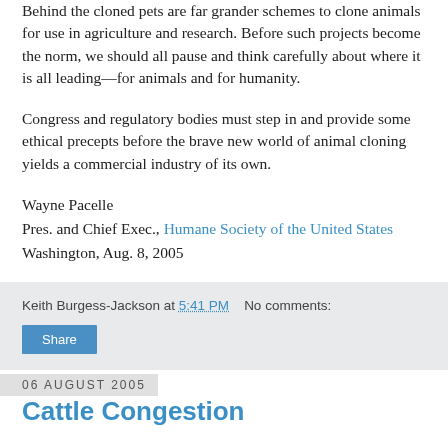Behind the cloned pets are far grander schemes to clone animals for use in agriculture and research. Before such projects become the norm, we should all pause and think carefully about where it is all leading—for animals and for humanity.
Congress and regulatory bodies must step in and provide some ethical precepts before the brave new world of animal cloning yields a commercial industry of its own.
Wayne Pacelle
Pres. and Chief Exec., Humane Society of the United States
Washington, Aug. 8, 2005
Keith Burgess-Jackson at 5:41 PM    No comments:
Share
06 August 2005
Cattle Congestion